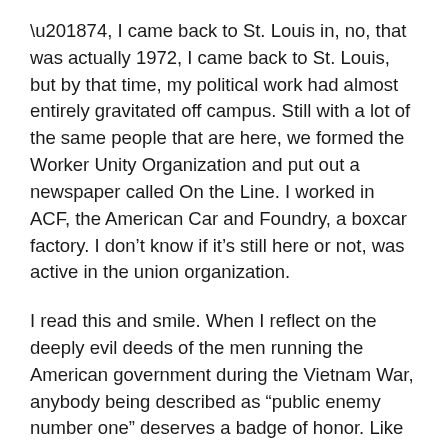'74, I came back to St. Louis in, no, that was actually 1972, I came back to St. Louis, but by that time, my political work had almost entirely gravitated off campus. Still with a lot of the same people that are here, we formed the Worker Unity Organization and put out a newspaper called On the Line. I worked in ACF, the American Car and Foundry, a boxcar factory. I don't know if it's still here or not, was active in the union organization.
I read this and smile. When I reflect on the deeply evil deeds of the men running the American government during the Vietnam War, anybody being described as “public enemy number one” deserves a badge of honor. Like the young people in Germany who formed the White Rose resistance to Hitler during WWII, those who resisted the war in Vietnam constituted the country's real